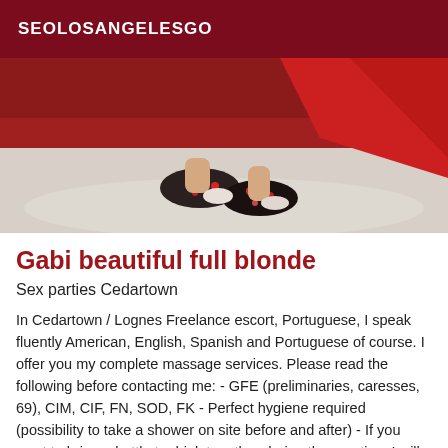SEOLOSANGELESGO
[Figure (photo): Photo showing feet/legs of a person wearing patterned shoes on a light carpet with red fabric in the background]
Gabi beautiful full blonde
Sex parties Cedartown
In Cedartown / Lognes Freelance escort, Portuguese, I speak fluently American, English, Spanish and Portuguese of course. I offer you my complete massage services. Please read the following before contacting me: - GFE (preliminaries, caresses, 69), CIM, CIF, FN, SOD, FK - Perfect hygiene required (possibility to take a shower on site before and after) - If you want to bring a bottle to drink together during the meeting, I will occasionally bring you champagne or wine, however I do